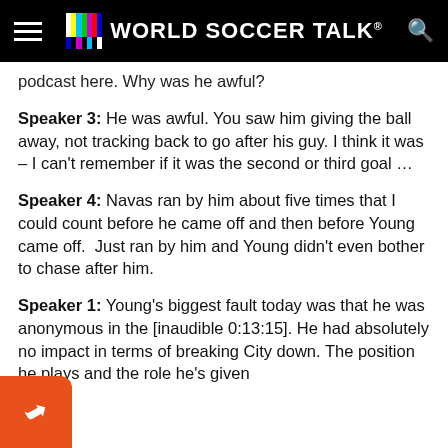World Soccer Talk
podcast here. Why was he awful?
Speaker 3: He was awful. You saw him giving the ball away, not tracking back to go after his guy. I think it was – I can't remember if it was the second or third goal …
Speaker 4: Navas ran by him about five times that I could count before he came off and then before Young came off.  Just ran by him and Young didn't even bother to chase after him.
Speaker 1: Young's biggest fault today was that he was anonymous in the [inaudible 0:13:15]. He had absolutely no impact in terms of breaking City down. The position he plays and the role he's given